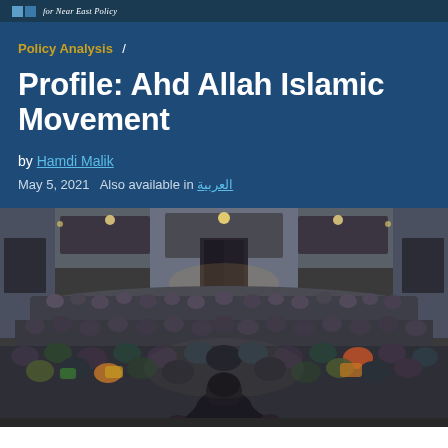for Near East Policy
Policy Analysis /
Profile: Ahd Allah Islamic Movement
by Hamdi Malik
May 5, 2021  Also available in العربية
[Figure (photo): A speaker seen from behind addressing a very large crowd gathered in a modern hall or auditorium, with ceiling lights and acoustic panels visible. The crowd fills the entire floor space.]